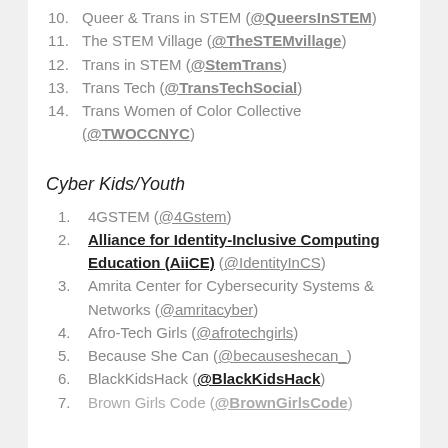10. Queer & Trans in STEM (@QueersInSTEM)
11. The STEM Village (@TheSTEMvillage)
12. Trans in STEM (@StemTrans)
13. Trans Tech (@TransTechSocial)
14. Trans Women of Color Collective (@TWOCCNYC)
Cyber Kids/Youth
1. 4GSTEM (@4Gstem)
2. Alliance for Identity-Inclusive Computing Education (AiiCE) (@IdentityInCS)
3. Amrita Center for Cybersecurity Systems & Networks (@amritacyber)
4. Afro-Tech Girls (@afrotechgirls)
5. Because She Can (@becauseshecan_)
6. BlackKidsHack (@BlackKidsHack)
7. Brown Girls Code (@BrownGirlsCode)